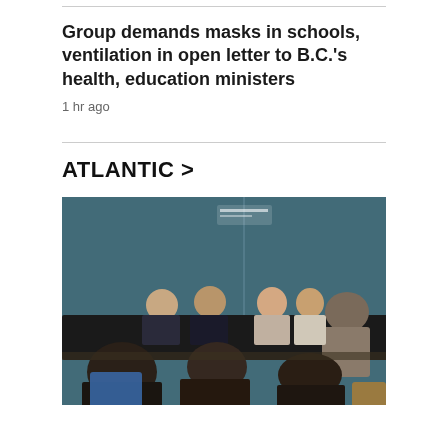Group demands masks in schools, ventilation in open letter to B.C.'s health, education ministers
1 hr ago
ATLANTIC >
[Figure (photo): A conference or panel event with people seated at a long table at the front of a room, and audience members visible in the foreground with laptops.]